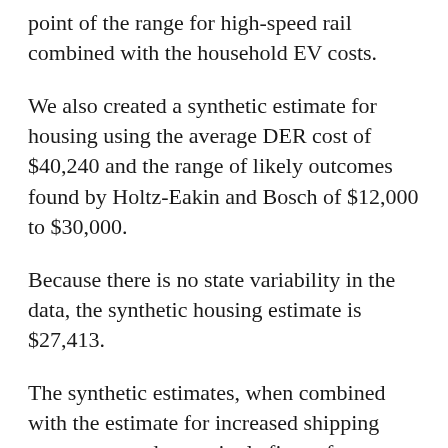point of the range for high-speed rail combined with the household EV costs.
We also created a synthetic estimate for housing using the average DER cost of $40,240 and the range of likely outcomes found by Holtz-Eakin and Bosch of $12,000 to $30,000.
Because there is no state variability in the data, the synthetic housing estimate is $27,413.
The synthetic estimates, when combined with the estimate for increased shipping expenses, produce a single figure for households in each state for the initial year of implementation. For each of the next four years, the household costs would fall by $27,413, reduced by the synthetic estimate of implementing a DER for every